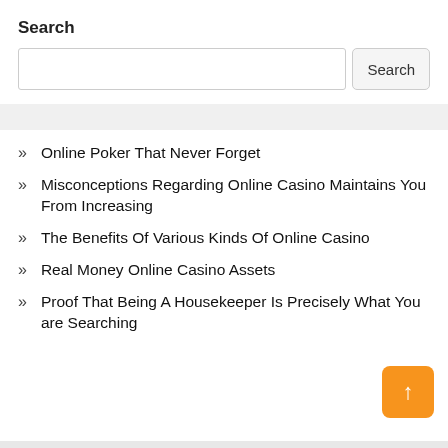Search
[Figure (screenshot): Search input box with Search button]
Online Poker That Never Forget
Misconceptions Regarding Online Casino Maintains You From Increasing
The Benefits Of Various Kinds Of Online Casino
Real Money Online Casino Assets
Proof That Being A Housekeeper Is Precisely What You are Searching